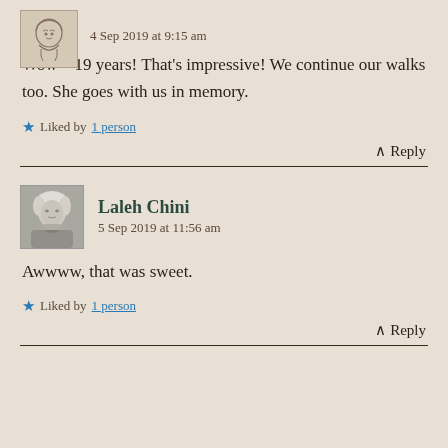4 Sep 2019 at 9:15 am
Wow – 19 years! That's impressive! We continue our walks too. She goes with us in memory.
Liked by 1 person
↑ Reply
Laleh Chini
5 Sep 2019 at 11:56 am
Awwww, that was sweet.
Liked by 1 person
↑ Reply